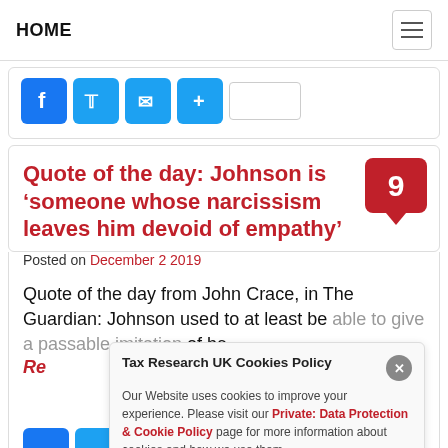HOME
[Figure (screenshot): Social share icons: Facebook, Twitter, Mail, Share plus text input box]
Quote of the day: Johnson is ‘someone whose narcissism leaves him devoid of empathy’
Posted on December 2 2019
Quote of the day from John Crace, in The Guardian: Johnson used to at least be able to give a passable imitation of be
Tax Research UK Cookies Policy
Our Website uses cookies to improve your experience. Please visit our Private: Data Protection & Cookie Policy page for more information about cookies and how we use them.
[Figure (screenshot): Partial bottom share icons: Facebook, Twitter, Mail, Share]